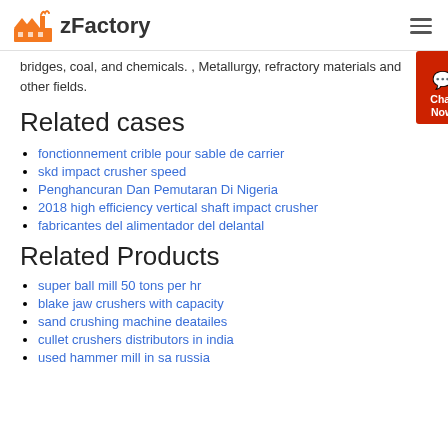zFactory
bridges, coal, and chemicals. , Metallurgy, refractory materials and other fields.
Related cases
fonctionnement crible pour sable de carrier
skd impact crusher speed
Penghancuran Dan Pemutaran Di Nigeria
2018 high efficiency vertical shaft impact crusher
fabricantes del alimentador del delantal
Related Products
super ball mill 50 tons per hr
blake jaw crushers with capacity
sand crushing machine deatailes
cullet crushers distributors in india
used hammer mill in sa russia